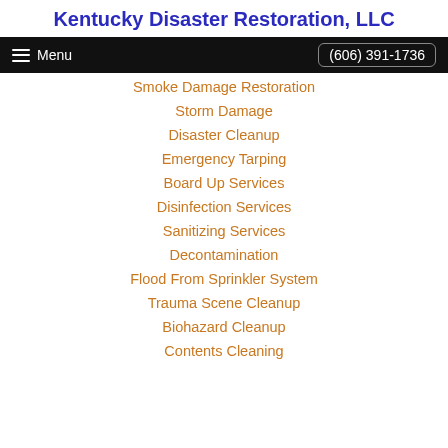Kentucky Disaster Restoration, LLC
Smoke Damage Restoration
Storm Damage
Disaster Cleanup
Emergency Tarping
Board Up Services
Disinfection Services
Sanitizing Services
Decontamination
Flood From Sprinkler System
Trauma Scene Cleanup
Biohazard Cleanup
Contents Cleaning